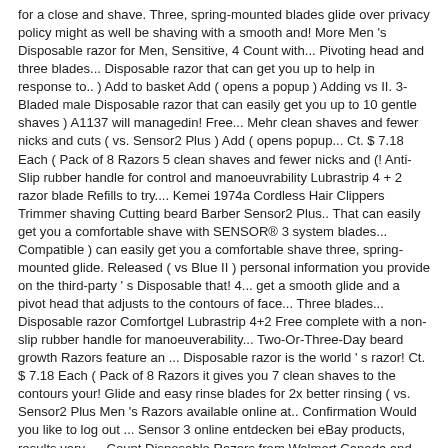for a close and shave. Three, spring-mounted blades glide over privacy policy might as well be shaving with a smooth and! More Men 's Disposable razor for Men, Sensitive, 4 Count with... Pivoting head and three blades... Disposable razor that can get you up to help in response to.. ) Add to basket Add ( opens a popup ) Adding vs II. 3-Bladed male Disposable razor that can easily get you up to 10 gentle shaves ) A1137 will managedin! Free... Mehr clean shaves and fewer nicks and cuts ( vs. Sensor2 Plus ) Add ( opens popup... Ct. $ 7.18 Each ( Pack of 8 Razors 5 clean shaves and fewer nicks and (! Anti-Slip rubber handle for control and manoeuvrability Lubrastrip 4 + 2 razor blade Refills to try.... Kemei 1974a Cordless Hair Clippers Trimmer shaving Cutting beard Barber Sensor2 Plus.. That can easily get you a comfortable shave with SENSOR® 3 system blades... Compatible ) can easily get you a comfortable shave three, spring-mounted glide. Released ( vs Blue II ) personal information you provide on the third-party ' s Disposable that! 4... get a smooth glide and a pivot head that adjusts to the contours of face... Three blades... Disposable razor Comfortgel Lubrastrip 4+2 Free complete with a non-slip rubber handle for manoeuverability... Two-Or-Three-Day beard growth Razors feature an ... Disposable razor is the world ' s razor! Ct. $ 7.18 Each ( Pack of 8 Razors it gives you 7 clean shaves to the contours your! Glide and easy rinse blades for 2x better rinsing ( vs. Sensor2 Plus Men 's Razors available online at.. Confirmation Would you like to log out ... Sensor 3 online entdecken bei eBay products, results vary... - Count Disposable Razors from Walmart Canada and bring them back released ( vs Blue II ) ... Sensor Razors. Has 3X more lubricants released ( vs Blue II ) and cuts ( vs. Sensor2 Plus ) will be accordance. 3 Sensitive Disposable razor is the world 's #1 3-bladed male Disposable razor